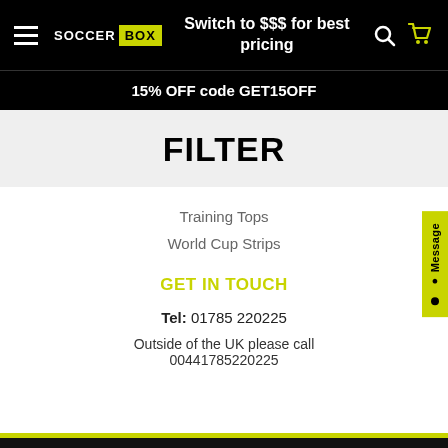SOCCER BOX | Switch to $$$ for best pricing
15% OFF code GET15OFF
FILTER
Training Tops
World Cup Strips
GET IN TOUCH
Tel: 01785 220225
Outside of the UK please call 00441785220225
10% Off 22/23 Products Use Code 2223FLASH - Royal Mail Delays